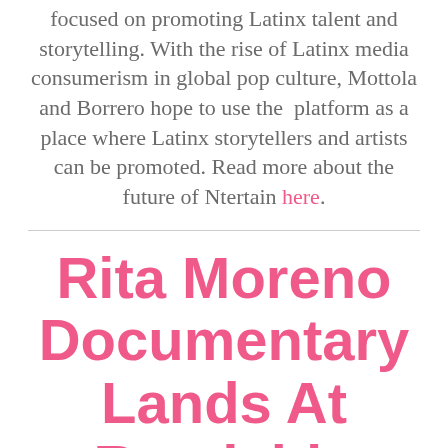focused on promoting Latinx talent and storytelling. With the rise of Latinx media consumerism in global pop culture, Mottola and Borrero hope to use the platform as a place where Latinx storytellers and artists can be promoted. Read more about the future of Ntertain here.
Rita Moreno Documentary Lands At Roadside